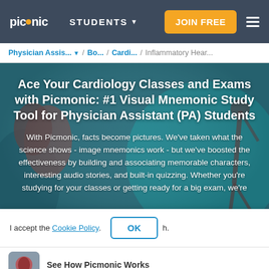picmonic | STUDENTS ▾ | JOIN FREE | ☰
Physician Assis... ▾ / Bo... / Cardi... / Inflammatory Hear...
Ace Your Cardiology Classes and Exams with Picmonic: #1 Visual Mnemonic Study Tool for Physician Assistant (PA) Students
With Picmonic, facts become pictures. We've taken what the science shows - image mnemonics work - but we've boosted the effectiveness by building and associating memorable characters, interesting audio stories, and built-in quizzing. Whether you're studying for your classes or getting ready for a big exam, we're
I accept the Cookie Policy. | OK
See How Picmonic Works